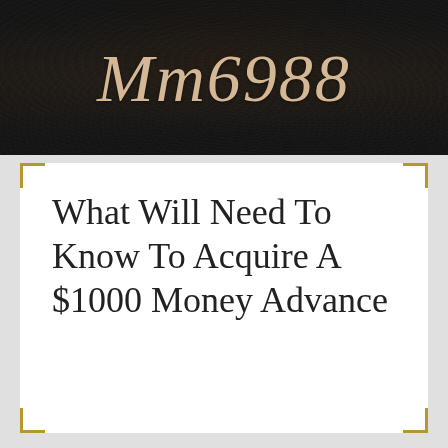Mm6988
What Will Need To Know To Acquire A $1000 Money Advance